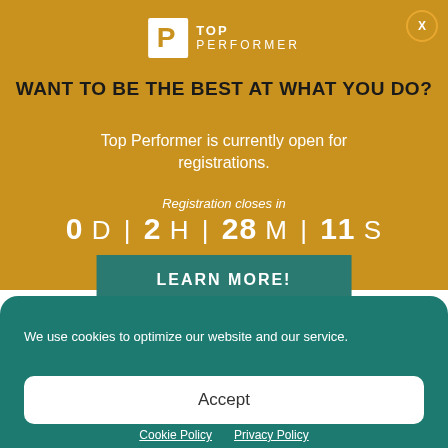[Figure (logo): Top Performer logo with white P icon and TOP PERFORMER text]
WANT TO BE THE BEST AT WHAT YOU DO?
Top Performer is currently open for registrations.
Registration closes in 0 D | 2 H | 28 M | 11 S
LEARN MORE!
We use cookies to optimize our website and our service.
Accept
Cookie Policy  Privacy Policy